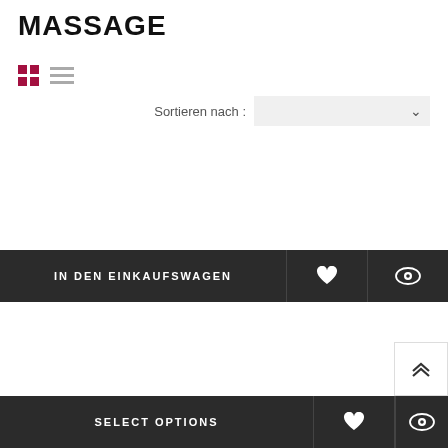MASSAGE
[Figure (infographic): View toggle icons: grid view (4-square icon in dark red/crimson) and list view (horizontal lines icon in gray)]
Sortieren nach :
[Figure (screenshot): Product action bar with buttons: IN DEN EINKAUFSWAGEN (add to cart), heart/wishlist icon, eye/quick-view icon]
[Figure (screenshot): Second product action bar with buttons: SELECT OPTIONS, heart/wishlist icon, eye/quick-view icon, and a back-to-top button with double chevron up]